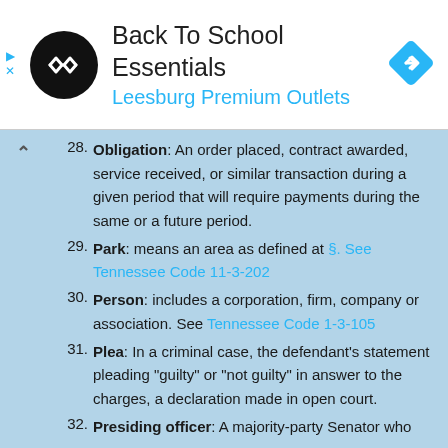[Figure (infographic): Advertisement banner for Back To School Essentials at Leesburg Premium Outlets with a circular logo and navigation icon]
28. Obligation: An order placed, contract awarded, service received, or similar transaction during a given period that will require payments during the same or a future period.
29. Park: means an area as defined at §. See Tennessee Code 11-3-202
30. Person: includes a corporation, firm, company or association. See Tennessee Code 1-3-105
31. Plea: In a criminal case, the defendant's statement pleading "guilty" or "not guilty" in answer to the charges, a declaration made in open court.
32. Presiding officer: A majority-party Senator who